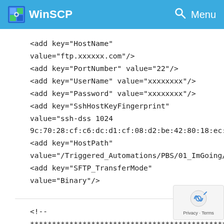WinSCP
<add key="HostName" value="ftp.xxxxxx.com"/>
<add key="PortNumber" value="22"/>
<add key="UserName" value="xxxxxxxx"/>
<add key="Password" value="xxxxxxxx"/>
<add key="SshHostKeyFingerprint" value="ssh-dss 1024 9c:70:28:cf:c6:dc:d1:cf:08:d2:be:42:80:18:ec:c7"/>
<add key="HostPath" value="/Triggered_Automations/PBS/01_ImGoing/Stage/"/>
<add key="SFTP_TransferMode" value="Binary"/>
<!-- *************************************************************** -->
<!-- WinSCP Settings -->